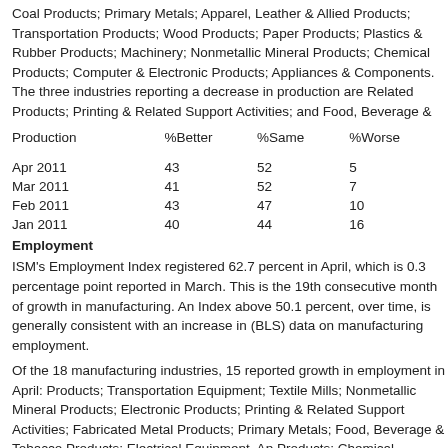Coal Products; Primary Metals; Apparel, Leather & Allied Products; Transportation Products; Wood Products; Paper Products; Plastics & Rubber Products; Machinery; Nonmetallic Mineral Products; Chemical Products; Computer & Electronic Products; Appliances & Components. The three industries reporting a decrease in production are Related Products; Printing & Related Support Activities; and Food, Beverage &
| Production | %Better | %Same | %Worse |
| --- | --- | --- | --- |
| Apr 2011 | 43 | 52 | 5 |
| Mar 2011 | 41 | 52 | 7 |
| Feb 2011 | 43 | 47 | 10 |
| Jan 2011 | 40 | 44 | 16 |
Employment
ISM's Employment Index registered 62.7 percent in April, which is 0.3 percentage point reported in March. This is the 19th consecutive month of growth in manufacturing. An Index above 50.1 percent, over time, is generally consistent with an increase in the (BLS) data on manufacturing employment.
Of the 18 manufacturing industries, 15 reported growth in employment in April: Products; Transportation Equipment; Textile Mills; Nonmetallic Mineral Products; Computer & Electronic Products; Printing & Related Support Activities; Fabricated Metal Products; Primary Metals; Food, Beverage & Tobacco Products; Electrical Equipment, Appliances & Products; Chemical Products; and Miscellaneous Manufacturing. Three industries reported a decrease in employment during April.
| Employment | %Higher | %Same | %Lower |
| --- | --- | --- | --- |
| Apr 2011 | 34 | 61 | 5 |